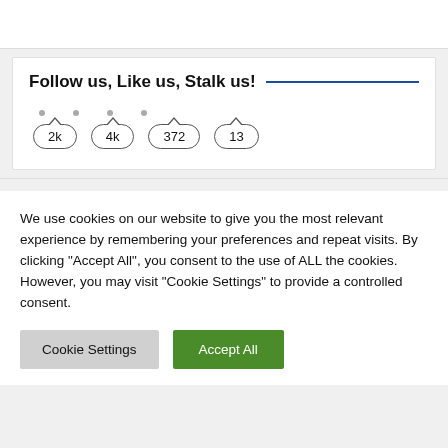Follow us, Like us, Stalk us!
[Figure (infographic): Social media follower count badges showing 2k, 4k, 372, 13]
We use cookies on our website to give you the most relevant experience by remembering your preferences and repeat visits. By clicking "Accept All", you consent to the use of ALL the cookies. However, you may visit "Cookie Settings" to provide a controlled consent.
Cookie Settings | Accept All